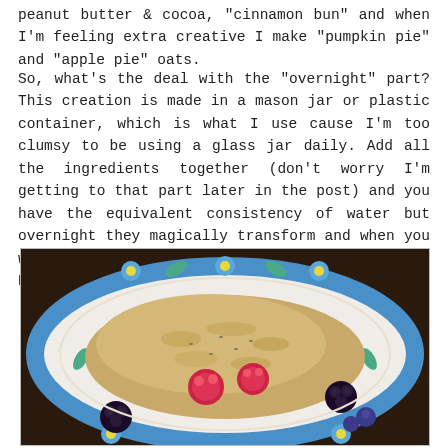peanut butter & cocoa, "cinnamon bun" and when I'm feeling extra creative I make "pumpkin pie" and "apple pie" oats.
So, what's the deal with the "overnight" part?  This creation is made in a mason jar or plastic container, which is what I use cause I'm too clumsy to be using a glass jar daily.  Add all the ingredients together (don't worry I'm getting to that part later in the post) and you have the equivalent consistency of water but overnight they magically transform and when you wake up in the morning and take the lid off, POOF there is your porridge like breakfast!
[Figure (photo): A plate with blue floral pattern containing oatmeal/porridge topped with raspberries, blackberries, and blueberries]